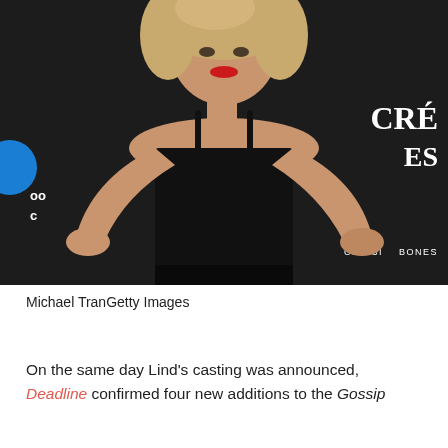[Figure (photo): Young blonde woman in black spaghetti-strap dress posing with hands on hips at a dark event backdrop. Partial text visible on backdrop: 'CRE', 'ES', 'CHE SI...', 'BONES'. A blue circle logo is partially visible on the left. Blue background color behind her.]
Michael TranGetty Images
On the same day Lind's casting was announced, Deadline confirmed four new additions to the Gossip